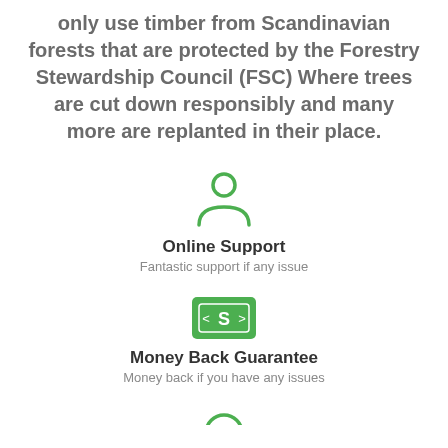only use timber from Scandinavian forests that are protected by the Forestry Stewardship Council (FSC) Where trees are cut down responsibly and many more are replanted in their place.
[Figure (illustration): Green person/user icon (outline of head and shoulders)]
Online Support
Fantastic support if any issue
[Figure (illustration): Green money/dollar bill icon with S symbol]
Money Back Guarantee
Money back if you have any issues
[Figure (illustration): Partial green icon visible at bottom]